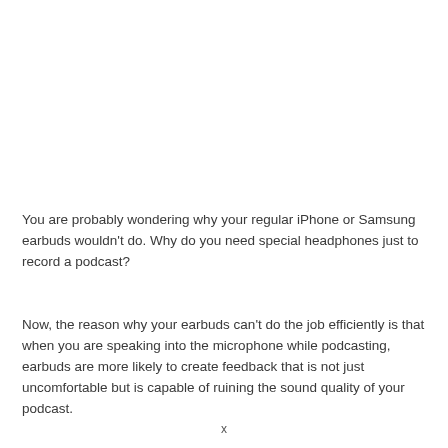You are probably wondering why your regular iPhone or Samsung earbuds wouldn't do. Why do you need special headphones just to record a podcast?
Now, the reason why your earbuds can't do the job efficiently is that when you are speaking into the microphone while podcasting, earbuds are more likely to create feedback that is not just uncomfortable but is capable of ruining the sound quality of your podcast.
x